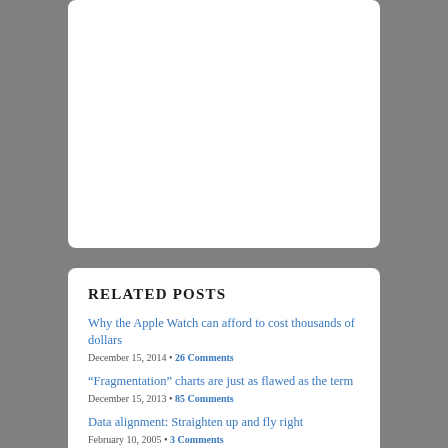RELATED POSTS
Why the Apple Watch can afford to cost thousands of dollars
December 15, 2014 • 26 Comments
“Fragmentation” charts are just as flawed as the term
December 15, 2013 • 85 Comments
Data alignment: Straighten up and fly right
February 10, 2005 • 3 Comments